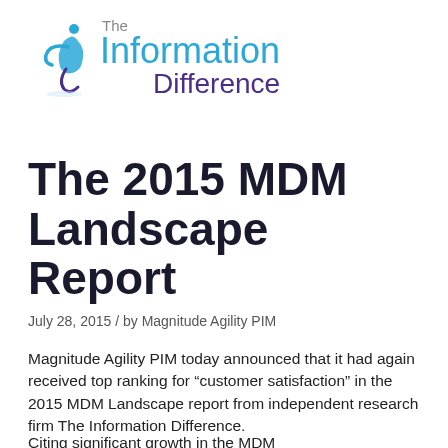[Figure (logo): The Information Difference logo with circular blue/purple figure and text 'The Information Difference']
The 2015 MDM Landscape Report
July 28, 2015 / by Magnitude Agility PIM
Magnitude Agility PIM today announced that it had again received top ranking for “customer satisfaction” in the 2015 MDM Landscape report from independent research firm The Information Difference.
Citing significant growth in the MDM